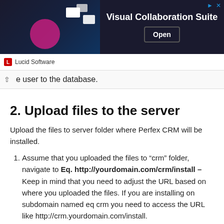[Figure (screenshot): Advertisement banner for Lucid Software's Visual Collaboration Suite with an Open button]
e user to the database.
2. Upload files to the server
Upload the files to server folder where Perfex CRM will be installed.
Assume that you uploaded the files to “crm” folder, navigate to Eq. http://yourdomain.com/crm/install – Keep in mind that you need to adjust the URL based on where you uploaded the files. If you are installing on subdomain named eq crm you need to access the URL like http://crm.yourdomain.com/install.
If all server requirements passed click Go to